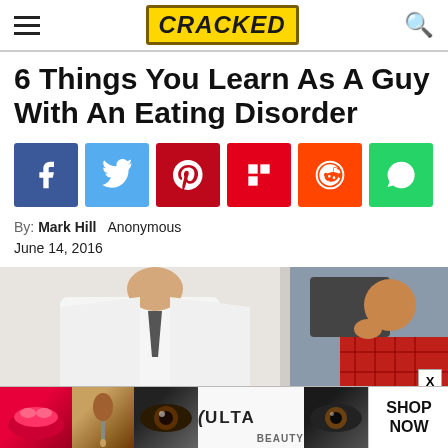CRACKED
6 Things You Learn As A Guy With An Eating Disorder
[Figure (infographic): Social media share buttons: Facebook (blue), Twitter (light blue), Pinterest (red), Flipboard (red), Reddit (orange-red), WhatsApp (green)]
By:  Mark Hill   Anonymous
June 14, 2016
[Figure (photo): A doctor in a white lab coat sitting across from a patient in a red plaid shirt, appearing to be in a consultation]
[Figure (infographic): Advertisement banner for ULTA beauty: shows makeup images (lips, brush, eyes) with ULTA logo and SHOP NOW call to action]